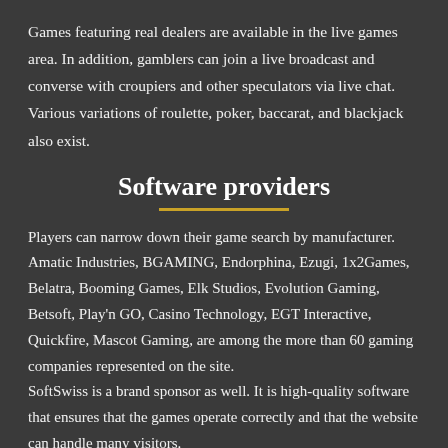Games featuring real dealers are available in the live games area. In addition, gamblers can join a live broadcast and converse with croupiers and other speculators via live chat. Various variations of roulette, poker, baccarat, and blackjack also exist.
Software providers
Players can narrow down their game search by manufacturer. Amatic Industries, BGAMING, Endorphina, Ezugi, 1x2Games, Belatra, Booming Games, Elk Studios, Evolution Gaming, Betsoft, Play'n GO, Casino Technology, EGT Interactive, Quickfire, Mascot Gaming, are among the more than 60 gaming companies represented on the site. SoftSwiss is a brand sponsor as well. It is high-quality software that ensures that the games operate correctly and that the website can handle many visitors.
Bonuses at Yoju Casino